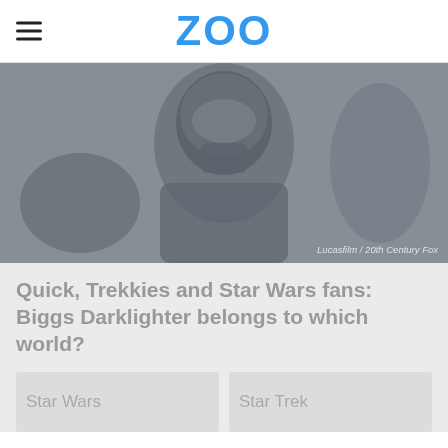ZOO
[Figure (photo): Grayscale image of a person wearing a flight helmet and oxygen mask, resembling a Star Wars or sci-fi pilot. Credit: Lucasfilm / 20th Century Fox]
Lucasfilm / 20th Century Fox
Quick, Trekkies and Star Wars fans: Biggs Darklighter belongs to which world?
Star Wars
Star Trek
Advertisement